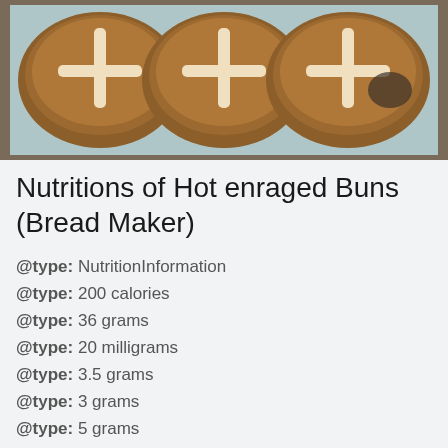[Figure (photo): Three hot cross buns on a baking tray lined with blue/white paper, viewed from above, showing golden-brown buns with white crosses on top.]
Nutritions of Hot enraged Buns (Bread Maker)
@type: NutritionInformation
@type: 200 calories
@type: 36 grams
@type: 20 milligrams
@type: 3.5 grams
@type: 3 grams
@type: 5 grams
@type: 140 milligrams
@type: 4 grams